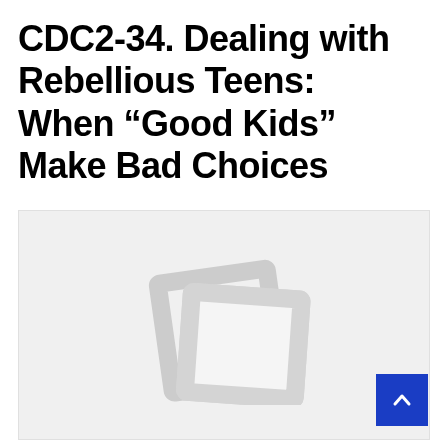CDC2-34. Dealing with Rebellious Teens: When "Good Kids" Make Bad Choices
[Figure (illustration): Placeholder image icon showing two overlapping photo/document frames in light gray on a light gray background, representing a missing or loading image.]